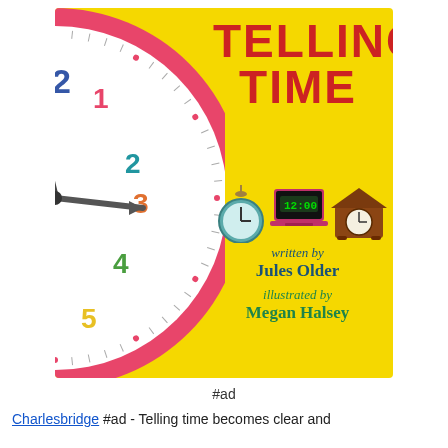[Figure (illustration): Book cover for 'Telling Time' by Jules Older, illustrated by Megan Halsey. Yellow background with a large analog clock (half-circle) on the left showing numbers 1-6 in various colors with clock hands. Title 'TELLING TIME' in bold red letters. Three small clock icons (pocket watch, digital clock, mantel clock) in the middle. Author and illustrator credits in teal/green at bottom right.]
#ad
Charlesbridge #ad - Telling time becomes clear and fun for young readers in this bright and lively...